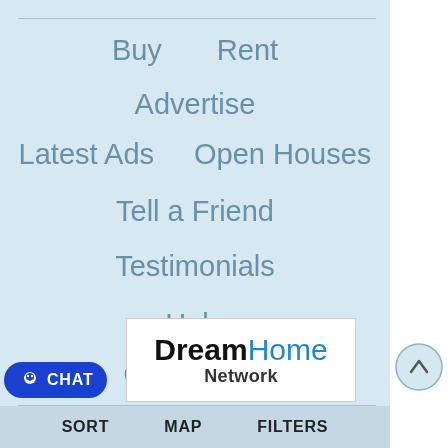Buy    Rent
Advertise
Latest Ads    Open Houses
Tell a Friend
Testimonials
Help
Contact Us
Members of DreamHomeNetwork.com
[Figure (logo): DreamHome Network logo with black bold Dream and blue Home text, Network below]
SORT    MAP    FILTERS